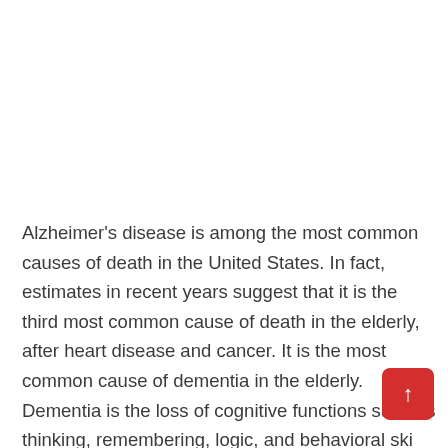Alzheimer's disease is among the most common causes of death in the United States. In fact, estimates in recent years suggest that it is the third most common cause of death in the elderly, after heart disease and cancer. It is the most common cause of dementia in the elderly. Dementia is the loss of cognitive functions such as thinking, remembering, logic, and behavioral skills needed to continue daily life. While it affects the memory of the person in its mild form, it can cause complete